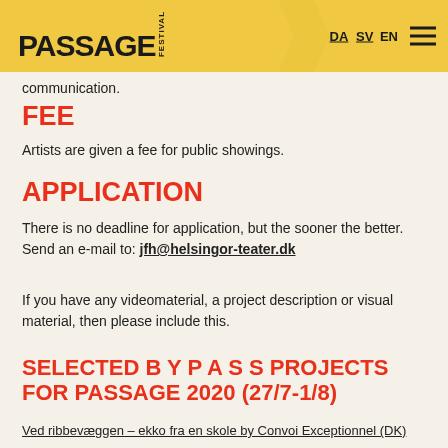PASSAGE FESTIVAL — DA SV EN
communication.
FEE
Artists are given a fee for public showings.
APPLICATION
There is no deadline for application, but the sooner the better. Send an e-mail to: jfh@helsingor-teater.dk
If you have any videomaterial, a project description or visual material, then please include this.
SELECTED B Y P A S S PROJECTS FOR PASSAGE 2020 (27/7-1/8)
Ved ribbevæggen – ekko fra en skole by Convoi Exceptionnel (DK)